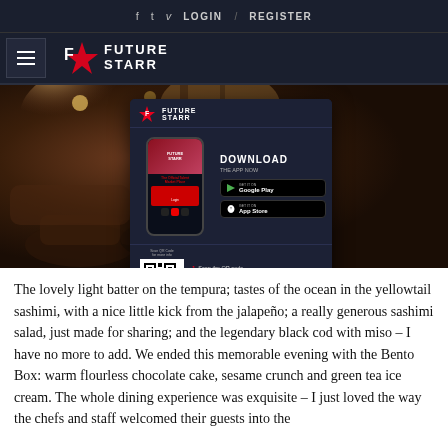f  t  v  LOGIN / REGISTER
[Figure (logo): FutureStarr logo with hamburger menu icon on dark navy background]
[Figure (photo): Restaurant interior photo with warm lighting, lounge chairs, overlaid with FutureStarr app download advertisement showing mobile app screens, Google Play and App Store buttons, QR code, and www.futurestarr.com URL]
The lovely light batter on the tempura; tastes of the ocean in the yellowtail sashimi, with a nice little kick from the jalapeño; a really generous sashimi salad, just made for sharing; and the legendary black cod with miso – I have no more to add. We ended this memorable evening with the Bento Box: warm flourless chocolate cake, sesame crunch and green tea ice cream. The whole dining experience was exquisite – I just loved the way the chefs and staff welcomed their guests into the